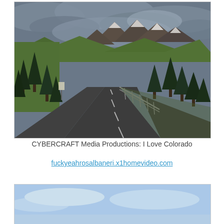[Figure (photo): A winding mountain road with dark asphalt curving through a landscape of green conifer trees, rocky mountain peaks with snow, and dramatic cloudy sky. Guardrails visible on the right side of the road.]
CYBERCRAFT Media Productions: I Love Colorado
fuckyeahrosalbaneri.x1homevideo.com
[Figure (photo): Partial view of a second photo showing a blue sky landscape, cropped at bottom of page.]